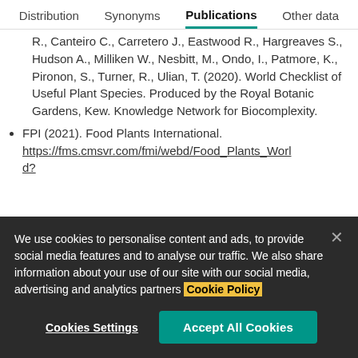Distribution | Synonyms | Publications | Other data
R., Canteiro C., Carretero J., Eastwood R., Hargreaves S., Hudson A., Milliken W., Nesbitt, M., Ondo, I., Patmore, K., Pironon, S., Turner, R., Ulian, T. (2020). World Checklist of Useful Plant Species. Produced by the Royal Botanic Gardens, Kew. Knowledge Network for Biocomplexity.
FPI (2021). Food Plants International. https://fms.cmsvr.com/fmi/webd/Food_Plants_World?
We use cookies to personalise content and ads, to provide social media features and to analyse our traffic. We also share information about your use of our site with our social media, advertising and analytics partners Cookie Policy
Cookies Settings | Accept All Cookies